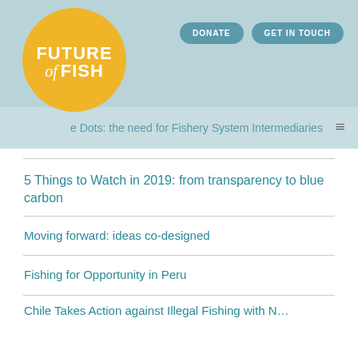[Figure (logo): Future of Fish circular yellow logo with white bold text]
DONATE   GET IN TOUCH
Connecting the Dots: the need for Fishery System Intermediaries
5 Things to Watch in 2019: from transparency to blue carbon
Moving forward: ideas co-designed
Fishing for Opportunity in Peru
Chile Takes Action against Illegal Fishing with N…